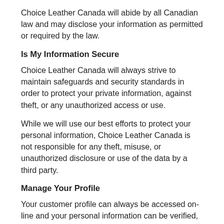Choice Leather Canada will abide by all Canadian law and may disclose your information as permitted or required by the law.
Is My Information Secure
Choice Leather Canada will always strive to maintain safeguards and security standards in order to protect your private information, against theft, or any unauthorized access or use.
While we will use our best efforts to protect your personal information, Choice Leather Canada is not responsible for any theft, misuse, or unauthorized disclosure or use of the data by a third party.
Manage Your Profile
Your customer profile can always be accessed on-line and your personal information can be verified, updated, or removed. If you signed on as a member on any of Choice Leather Canada's web site, you can always access or modify your personal information.